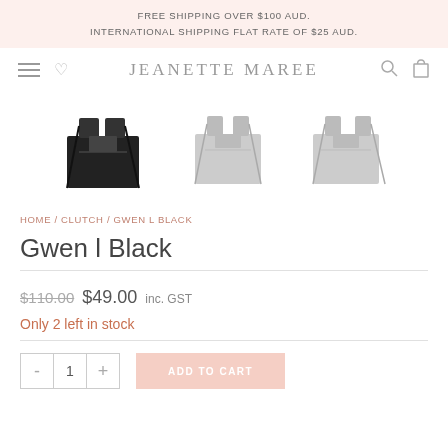FREE SHIPPING OVER $100 AUD.
INTERNATIONAL SHIPPING FLAT RATE OF $25 AUD.
JEANETTE MAREE
[Figure (photo): Three product thumbnail images of the Gwen L Black bag: first in black, second in light pink/nude, third in light grey]
HOME / CLUTCH / GWEN L BLACK
Gwen l Black
$110.00 $49.00 inc. GST
Only 2 left in stock
- 1 + ADD TO CART